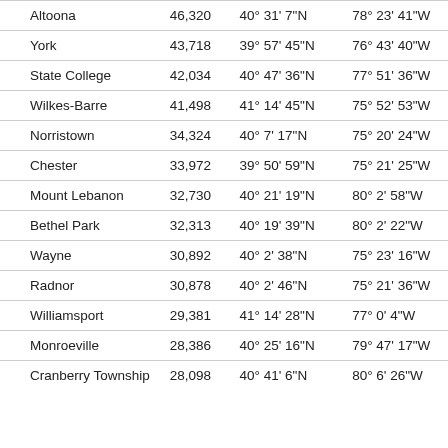| City | Population | Latitude | Longitude |
| --- | --- | --- | --- |
| Altoona | 46,320 | 40° 31' 7"N | 78° 23' 41"W |
| York | 43,718 | 39° 57' 45"N | 76° 43' 40"W |
| State College | 42,034 | 40° 47' 36"N | 77° 51' 36"W |
| Wilkes-Barre | 41,498 | 41° 14' 45"N | 75° 52' 53"W |
| Norristown | 34,324 | 40° 7' 17"N | 75° 20' 24"W |
| Chester | 33,972 | 39° 50' 59"N | 75° 21' 25"W |
| Mount Lebanon | 32,730 | 40° 21' 19"N | 80° 2' 58"W |
| Bethel Park | 32,313 | 40° 19' 39"N | 80° 2' 22"W |
| Wayne | 30,892 | 40° 2' 38"N | 75° 23' 16"W |
| Radnor | 30,878 | 40° 2' 46"N | 75° 21' 36"W |
| Williamsport | 29,381 | 41° 14' 28"N | 77° 0' 4"W |
| Monroeville | 28,386 | 40° 25' 16"N | 79° 47' 17"W |
| Cranberry Township | 28,098 | 40° 41' 6"N | 80° 6' 26"W |